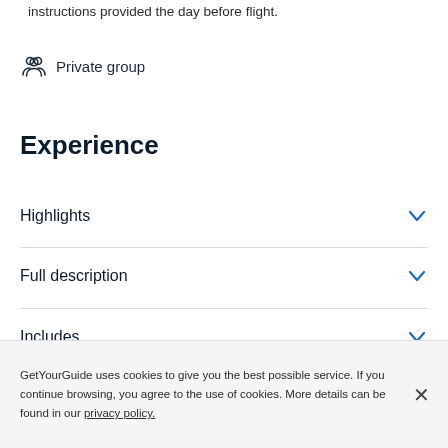instructions provided the day before flight.
Private group
Experience
Highlights
Full description
Includes
GetYourGuide uses cookies to give you the best possible service. If you continue browsing, you agree to the use of cookies. More details can be found in our privacy policy.